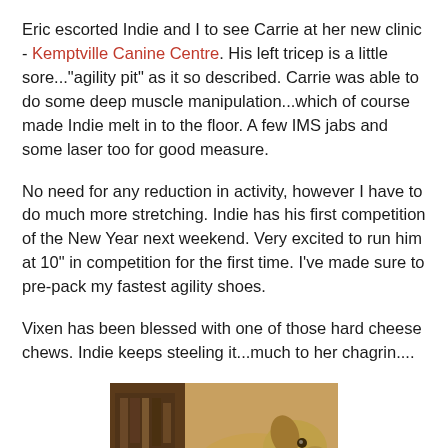Eric escorted Indie and I to see Carrie at her new clinic - Kemptville Canine Centre. His left tricep is a little sore..."agility pit" as it so described. Carrie was able to do some deep muscle manipulation...which of course made Indie melt in to the floor. A few IMS jabs and some laser too for good measure.
No need for any reduction in activity, however I have to do much more stretching. Indie has his first competition of the New Year next weekend. Very excited to run him at 10" in competition for the first time. I've made sure to pre-pack my fastest agility shoes.
Vixen has been blessed with one of those hard cheese chews. Indie keeps steeling it...much to her chagrin....
[Figure (photo): Photo of a dog (appears to be a golden/tan colored dog) lying down, photographed from above/side angle]